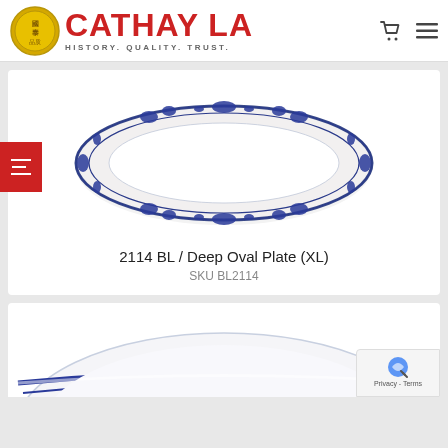[Figure (logo): Cathay LA company logo with gold coin emblem and red brand name text, tagline: HISTORY. QUALITY. TRUST.]
[Figure (photo): White oval plate with blue floral border pattern - 2114 BL Deep Oval Plate XL]
2114 BL / Deep Oval Plate (XL)
SKU BL2114
[Figure (photo): Partial view of a white bowl with blue stripe border pattern, cropped at bottom of page]